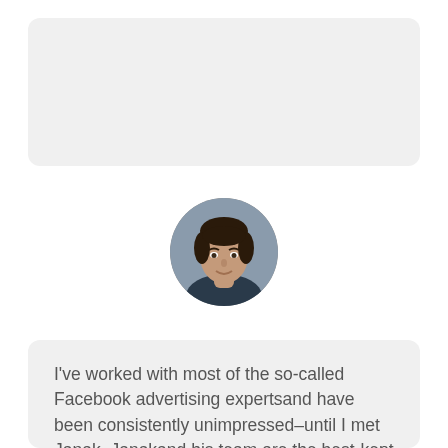[Figure (photo): Gray rounded rectangle card placeholder at the top of the page]
[Figure (photo): Circular profile photo of a man with dark hair, wearing a dark shirt, against a blurred background]
I've worked with most of the so-called Facebook advertising expertsand have been consistently unimpressed–until I met Janak. Janakand his team are the best-kept secret behind some of the mostsuccessful, scalable ad campaigns on Facebook, including my own. Ifyou are an expert, author, speaker or coach and you arecommitted to dominating on Facebook, the fastest way for